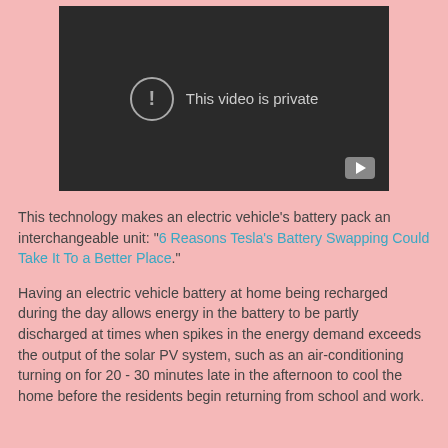[Figure (screenshot): A dark video player showing 'This video is private' message with a circled exclamation mark icon and a play button in the bottom right corner.]
This technology makes an electric vehicle's battery pack an interchangeable unit: "6 Reasons Tesla's Battery Swapping Could Take It To a Better Place."
Having an electric vehicle battery at home being recharged during the day allows energy in the battery to be partly discharged at times when spikes in the energy demand exceeds the output of the solar PV system, such as an air-conditioning turning on for 20 - 30 minutes late in the afternoon to cool the home before the residents begin returning from school and work.